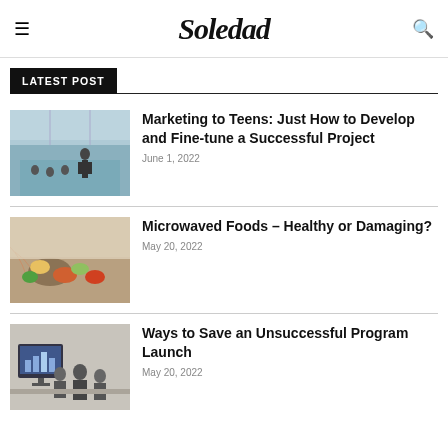Soledad
LATEST POST
Marketing to Teens: Just How to Develop and Fine-tune a Successful Project
June 1, 2022
Microwaved Foods – Healthy or Damaging?
May 20, 2022
Ways to Save an Unsuccessful Program Launch
May 20, 2022